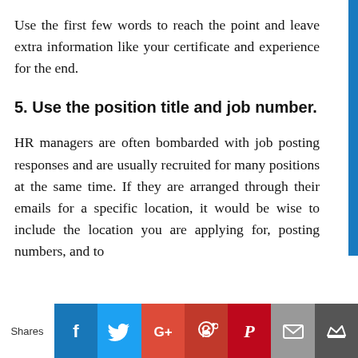Use the first few words to reach the point and leave extra information like your certificate and experience for the end.
5. Use the position title and job number.
HR managers are often bombarded with job posting responses and are usually recruited for many positions at the same time. If they are arranged through their emails for a specific location, it would be wise to include the location you are applying for, posting numbers, and to
Shares [Facebook] [Twitter] [G+] [Reddit] [Pinterest] [Email] [Crown]